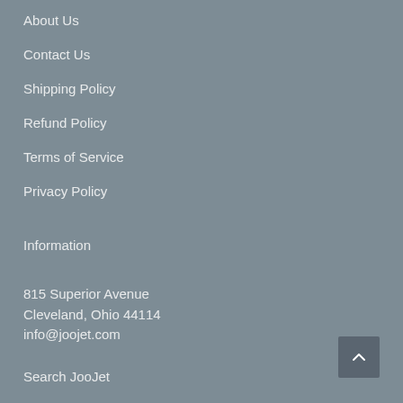About Us
Contact Us
Shipping Policy
Refund Policy
Terms of Service
Privacy Policy
Information
815 Superior Avenue
Cleveland, Ohio 44114
info@joojet.com
Search JooJet